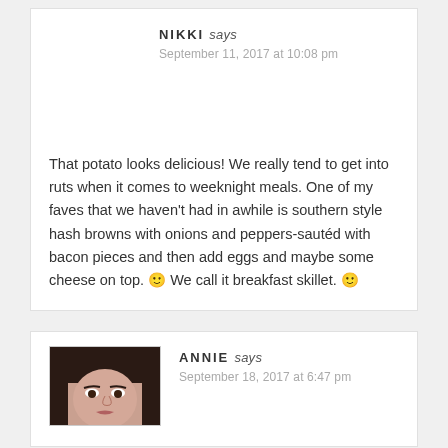NIKKI says
September 11, 2017 at 10:08 pm
That potato looks delicious! We really tend to get into ruts when it comes to weeknight meals. One of my faves that we haven't had in awhile is southern style hash browns with onions and peppers-sautéd with bacon pieces and then add eggs and maybe some cheese on top. 🙂 We call it breakfast skillet. 🙂
ANNIE says
September 18, 2017 at 6:47 pm